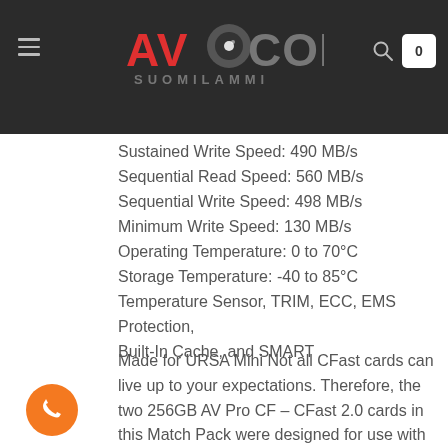AV·COM SUOMILAMMI — navigation header
Sustained Write Speed: 490 MB/s
Sequential Read Speed: 560 MB/s
Sequential Write Speed: 498 MB/s
Minimum Write Speed: 130 MB/s
Operating Temperature: 0 to 70°C
Storage Temperature: -40 to 85°C
Temperature Sensor, TRIM, ECC, EMS Protection, Built-In Cache, and SMART
Made for URSA Mini Not all CFast cards can live up to your expectations. Therefore, the two 256GB AV Pro CF – CFast 2.0 cards in this Match Pack were designed for use with the Blackmagic URSA Mini Pro 4K, 4.6K, 4.6K G2 and Broadcast Digital Film cameras, giving you a hassle-free experience.